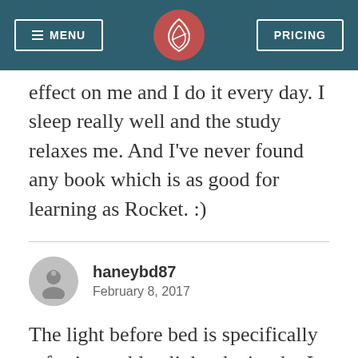MENU | [logo] | PRICING
effect on me and I do it every day. I sleep really well and the study relaxes me. And I've never found any book which is as good for learning as Rocket. :)
haneybd87
February 8, 2017
The light before bed is specifically referring to blue light, that's why I use the night shift feature on my iPad and iPhone. Also I think that research is just